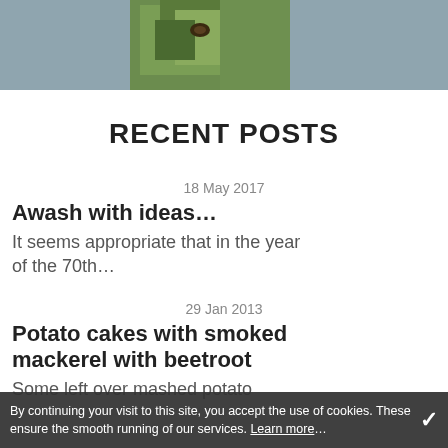[Figure (photo): Hero image: close-up of green leaves/foliage with grey sidebar panels on either side]
RECENT POSTS
18 May 2017
Awash with ideas…
It seems appropriate that in the year of the 70th…
29 Jan 2013
Potato cakes with smoked mackerel with beetroot
Some left over mashed potato
By continuing your visit to this site, you accept the use of cookies. These ensure the smooth running of our services. Learn more…